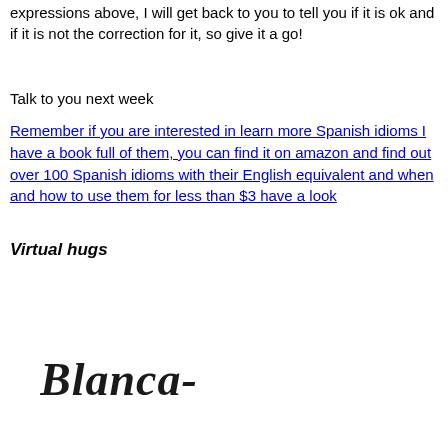expressions above,  I will get back to you to tell you if it is ok and if it is not the correction for it, so give it a go!
Talk to you next week
Remember if you are interested in learn more Spanish idioms I have a book full of them,  you can find it on amazon and find out over 100 Spanish idioms with their English equivalent and when and how to use them for less than $3 have a look
Virtual hugs
[Figure (illustration): Handwritten cursive signature reading 'Blanca-' with a flourish below]